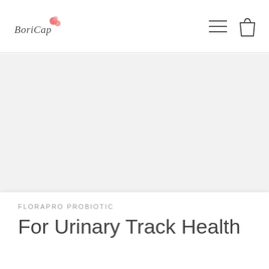BoriCap
[Figure (other): Gray placeholder image area for product photo]
FLORAPRO PROBIOTIC
For Urinary Track Health